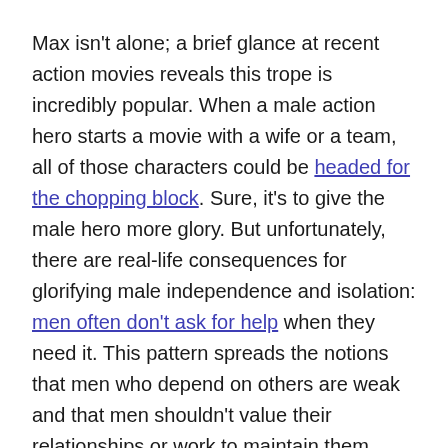Max isn't alone; a brief glance at recent action movies reveals this trope is incredibly popular. When a male action hero starts a movie with a wife or a team, all of those characters could be headed for the chopping block. Sure, it's to give the male hero more glory. But unfortunately, there are real-life consequences for glorifying male independence and isolation: men often don't ask for help when they need it. This pattern spreads the notions that men who depend on others are weak and that men shouldn't value their relationships or work to maintain them.
How to Fix It